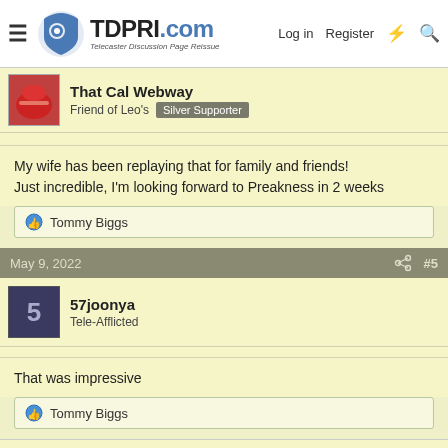TDPRI.com – Telecaster Discussion Page Reissue | Log in | Register
That Cal Webway
Friend of Leo's  Silver Supporter
My wife has been replaying that for family and friends!
Just incredible, I'm looking forward to Preakness in 2 weeks
👍 Tommy Biggs
May 9, 2022  #5
57joonya
Tele-Afflicted
That was impressive
👍 Tommy Biggs